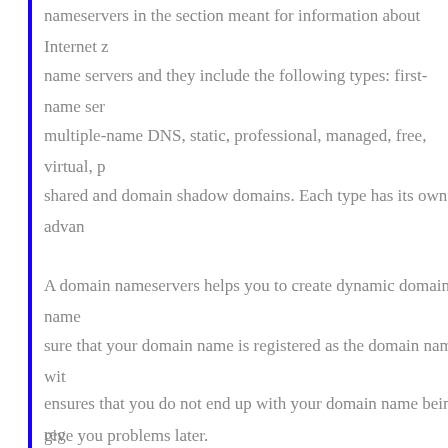nameservers in the section meant for information about Internet z
name servers and they include the following types: first-name ser
multiple-name DNS, static, professional, managed, free, virtual, p
shared and domain shadow domains. Each type has its own advan
A domain nameservers helps you to create dynamic domain name sure that your domain name is registered as the domain name wit ensures that you do not end up with your domain name being reg give you problems later.
There are plenty of companies that offer domain nameservers ser